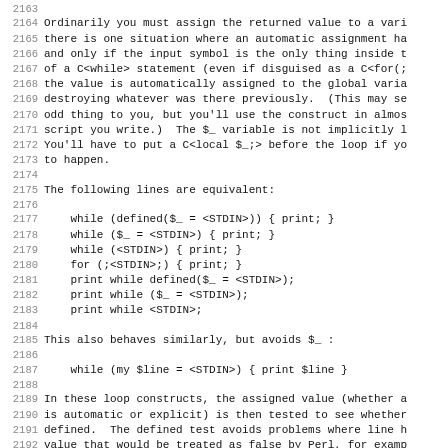2163
2164 Ordinarily you must assign the returned value to a vari
2165 there is one situation where an automatic assignment ha
2166 and only if the input symbol is the only thing inside t
2167 of a C<while> statement (even if disguised as a C<for(;
2168 the value is automatically assigned to the global varia
2169 destroying whatever was there previously.  (This may se
2170 odd thing to you, but you'll use the construct in almos
2171 script you write.)  The $_ variable is not implicitly l
2172 You'll have to put a C<local $_;> before the loop if yo
2173 to happen.
2174
2175 The following lines are equivalent:
2176
2177     while (defined($_ = <STDIN>)) { print; }
2178     while ($_ = <STDIN>) { print; }
2179     while (<STDIN>) { print; }
2180     for (;<STDIN>;) { print; }
2181     print while defined($_ = <STDIN>);
2182     print while ($_ = <STDIN>);
2183     print while <STDIN>;
2184
2185 This also behaves similarly, but avoids $_ :
2186
2187     while (my $line = <STDIN>) { print $line }
2188
2189 In these loop constructs, the assigned value (whether a
2190 is automatic or explicit) is then tested to see whether
2191 defined.  The defined test avoids problems where line h
2192 value that would be treated as false by Perl, for examp
2193 a "0" with no trailing newline.  If you really mean for
2194 to terminate the loop, they should be tested for explic